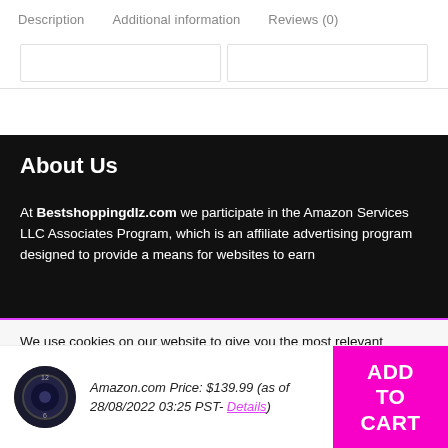Description   Additional information   Reviews (0)
[Figure (other): Two white image blocks side by side with light borders]
About Us
At Bestshoppingdlz.com we participate in the Amazon Services LLC Associates Program, which is an affiliate advertising program designed to provide a means for websites to earn
We use cookies on our website to give you the most relevant experience by remembering your preferences and repeat visits. By clicking “Accept All”, you consent to the use of ALL the cookies. However, you may visit
Amazon.com Price: $139.99 (as of 28/08/2022 03:25 PST- Details)